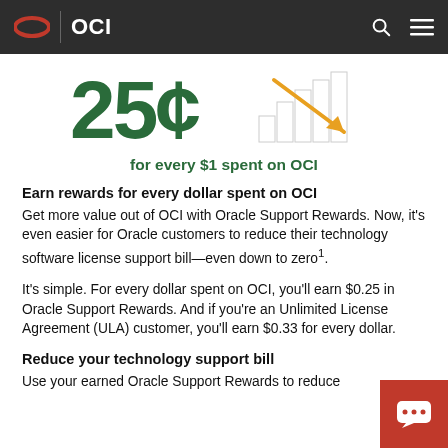OCI
[Figure (infographic): Large green '25¢' text with a bar chart graphic and yellow downward arrow, representing 25 cents earned for every $1 spent on OCI]
for every $1 spent on OCI
Earn rewards for every dollar spent on OCI
Get more value out of OCI with Oracle Support Rewards. Now, it's even easier for Oracle customers to reduce their technology software license support bill—even down to zero¹.
It's simple. For every dollar spent on OCI, you'll earn $0.25 in Oracle Support Rewards. And if you're an Unlimited License Agreement (ULA) customer, you'll earn $0.33 for every dollar.
Reduce your technology support bill
Use your earned Oracle Support Rewards to reduce